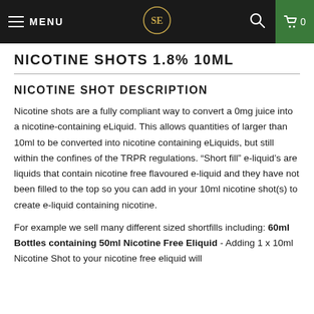MENU | SE logo | search | 0
NICOTINE SHOTS 1.8% 10ML
NICOTINE SHOT DESCRIPTION
Nicotine shots are a fully compliant way to convert a 0mg juice into a nicotine-containing eLiquid. This allows quantities of larger than 10ml to be converted into nicotine containing eLiquids, but still within the confines of the TRPR regulations. “Short fill” e-liquid’s are liquids that contain nicotine free flavoured e-liquid and they have not been filled to the top so you can add in your 10ml nicotine shot(s) to create e-liquid containing nicotine.
For example we sell many different sized shortfills including: 60ml Bottles containing 50ml Nicotine Free Eliquid - Adding 1 x 10ml Nicotine Shot to your nicotine free eliquid will